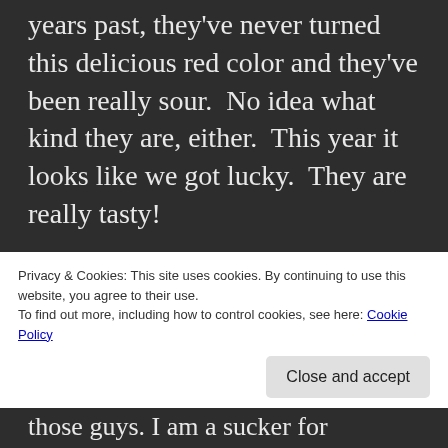They grow on the tree in the front yard. In years past, they've never turned this delicious red color and they've been really sour.  No idea what kind they are, either.  This year it looks like we got lucky.  They are really tasty!

One of my favorite things about this time of year is the good stuff to make and eat (this week's wacky warm weather
Privacy & Cookies: This site uses cookies. By continuing to use this website, you agree to their use.
To find out more, including how to control cookies, see here: Cookie Policy
those guys. I am a sucker for anything